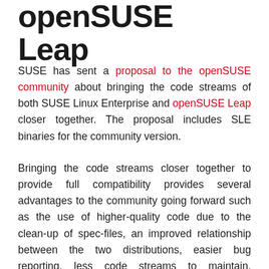openSUSE Leap
SUSE has sent a proposal to the openSUSE community about bringing the code streams of both SUSE Linux Enterprise and openSUSE Leap closer together. The proposal includes SLE binaries for the community version.
Bringing the code streams closer together to provide full compatibility provides several advantages to the community going forward such as the use of higher-quality code due to the clean-up of spec-files, an improved relationship between the two distributions, easier bug reporting, less code streams to maintain, extensively tested packages and the inclusion of SLE